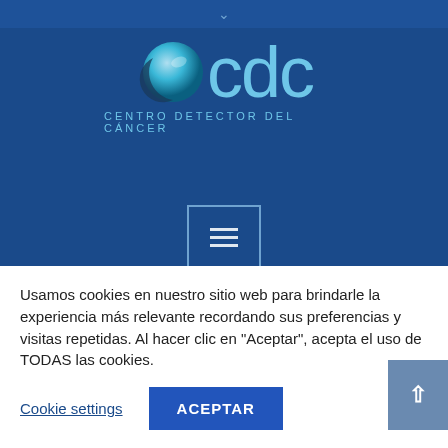[Figure (logo): CDC - Centro Detector del Cancer logo with teal sphere icon and teal text]
[Figure (other): Hamburger menu button in a bordered box]
Profile Category: Cirugía Plástica y Reconstructiva
Usamos cookies en nuestro sitio web para brindarle la experiencia más relevante recordando sus preferencias y visitas repetidas. Al hacer clic en "Aceptar", acepta el uso de TODAS las cookies.
Cookie settings
ACEPTAR